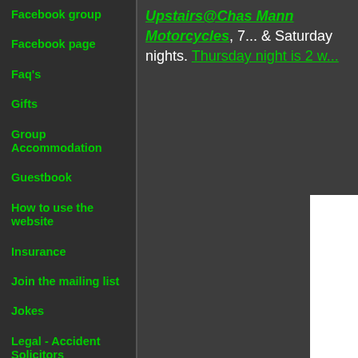Facebook group
Facebook page
Faq's
Gifts
Group Accommodation
Guestbook
How to use the website
Insurance
Join the mailing list
Jokes
Legal - Accident Solicitors
Meeting places & Cafes
Motorcycle Club links
Motorcycle Detailing
Upstairs@Chas Mann Motorcycles, 7... & Saturday nights. Thursday night is 2 w...